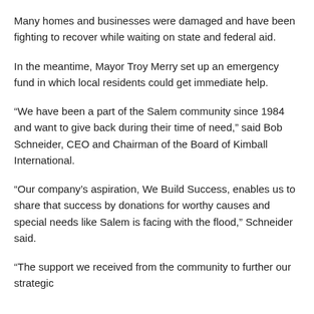Many homes and businesses were damaged and have been fighting to recover while waiting on state and federal aid.
In the meantime, Mayor Troy Merry set up an emergency fund in which local residents could get immediate help.
“We have been a part of the Salem community since 1984 and want to give back during their time of need,” said Bob Schneider, CEO and Chairman of the Board of Kimball International.
“Our company’s aspiration, We Build Success, enables us to share that success by donations for worthy causes and special needs like Salem is facing with the flood,” Schneider said.
“The support we received from the community to further our strategic